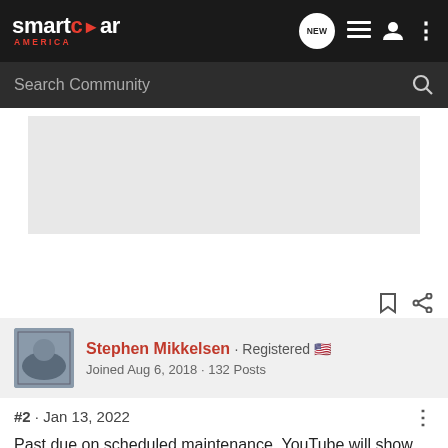[Figure (screenshot): Smart Car America forum website header with logo, navigation icons, and search bar]
Stephen Mikkelsen · Registered
Joined Aug 6, 2018 · 132 Posts
#2 · Jan 13, 2022
Past due on scheduled maintenance. YouTube will show you how to reset the counter.